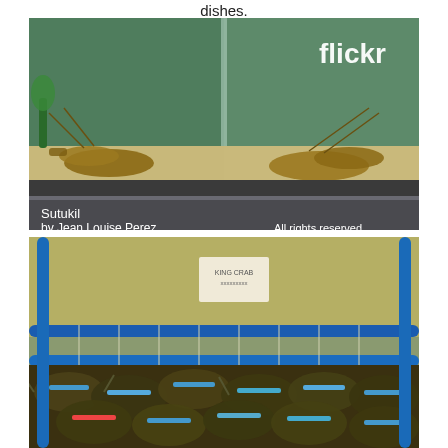dishes.
[Figure (photo): Aquarium tank with lobsters/spiny lobsters on sandy bottom, with a glass divider. Flickr watermark in top right. Caption reads: Sutukil by Jean Louise Perez. All rights reserved.]
[Figure (photo): Bins of live crabs tied with blue rubber bands, displayed in a water tank with blue PVC pipe rails. A small sign card is visible in the background.]